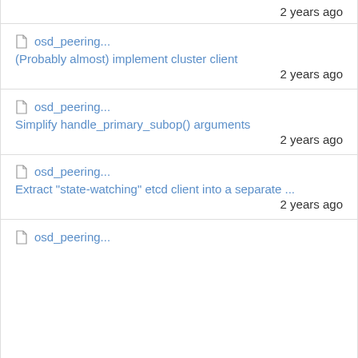2 years ago
osd_peering... | (Probably almost) implement cluster client | 2 years ago
osd_peering... | Simplify handle_primary_subop() arguments | 2 years ago
osd_peering... | Extract "state-watching" etcd client into a separate ... | 2 years ago
osd_peering...